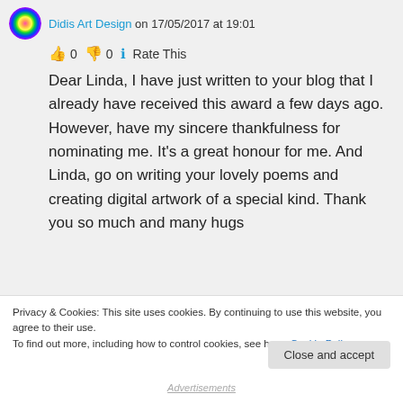Didis Art Design on 17/05/2017 at 19:01
👍 0 👎 0 ℹ Rate This
Dear Linda, I have just written to your blog that I already have received this award a few days ago. However, have my sincere thankfulness for nominating me. It's a great honour for me. And Linda, go on writing your lovely poems and creating digital artwork of a special kind. Thank you so much and many hugs
Privacy & Cookies: This site uses cookies. By continuing to use this website, you agree to their use.
To find out more, including how to control cookies, see here: Cookie Policy
Close and accept
Advertisements